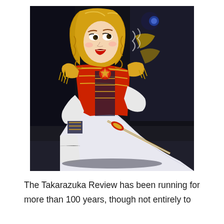[Figure (photo): A performer in a Takarazuka Revue costume — elaborate red, white, and gold military-style jacket with gold epaulettes, white gloves, white cape, and carrying a decorative sword. The performer has long wavy blonde hair with theatrical makeup and is kneeling on a dark stage floor. Another performer in dark uniform with gold decorations is partially visible behind.]
The Takarazuka Review has been running for more than 100 years, though not entirely to